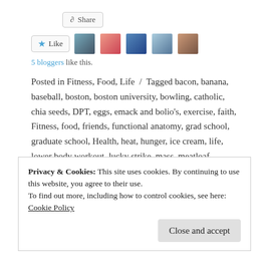[Figure (other): Share button UI element]
[Figure (other): Like button with 5 blogger avatar thumbnails]
5 bloggers like this.
Posted in Fitness, Food, Life / Tagged bacon, banana, baseball, boston, boston university, bowling, catholic, chia seeds, DPT, eggs, emack and bolio's, exercise, faith, Fitness, food, friends, functional anatomy, grad school, graduate school, Health, heat, hunger, ice cream, life, lower body workout, lucky strike, mass, meatloaf, overnight oats, park, Peanut butter, physical therapy, pineapple, pistol squats, popcorn, program, recap, recovery, sandwiches, sargent college of health and rehabilitation sciences, smoothie, students, studying, summer,
Privacy & Cookies: This site uses cookies. By continuing to use this website, you agree to their use. To find out more, including how to control cookies, see here: Cookie Policy